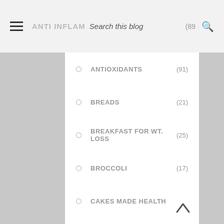ANTI INFLAM Search this blog (89)
ANTIOXIDANTS (91)
BREADS (21)
BREAKFAST FOR WT. LOSS (25)
BROCCOLI (17)
CAKES MADE HEALTHY (13)
CALCIUM AND IRON SUPPLEMENT (13)
CHOCOLATE (9)
CHUTNEYS (20)
CURRIES FOR THE WT. CONSCIOUS (31)
DESSERTS (45)
DETOX RECIPES (91)
DRINKS (14)